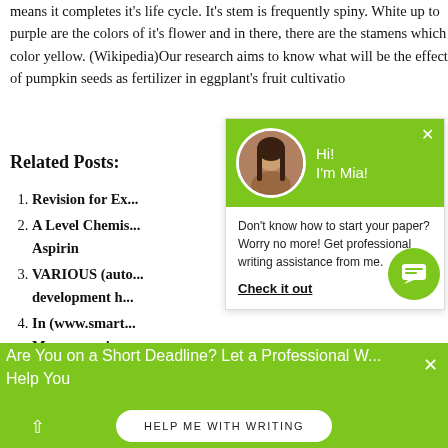means it completes it's life cycle. It's stem is frequently spiny. White up to purple are the colors of it's flower and in there, there are the stamens which is color yellow. (Wikipedia)Our research aims to know what will be the effects of pumpkin seeds as fertilizer in eggplant's fruit cultivation changes to the fruits of
Related Posts:
Revision for Ex...
A Level Chemistry... Aspirin
VARIOUS (auto... development h...
In (www.smart... Manganese is a...
[Figure (screenshot): Chat popup with green header showing avatar and 'Hi! I'm Mia!' text, body with message 'Don't know how to start your paper? Worry no more! Get professional writing assistance from me.' and 'Check it out' link]
Are You on a Short Deadline? Let a Professional W... Help You
HELP ME WITH WRITING